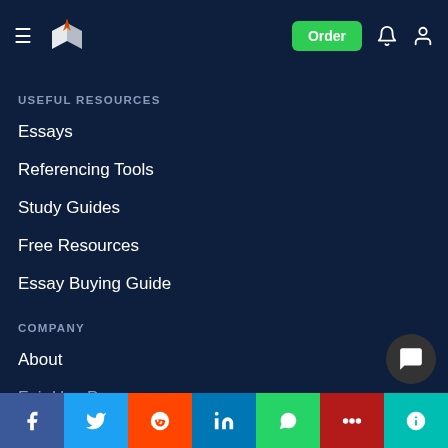Navigation bar with logo, Order button, notification and user icons
USEFUL RESOURCES
Essays
Referencing Tools
Study Guides
Free Resources
Essay Buying Guide
COMPANY
About
Fair Use P
[Figure (other): Social share bar with Facebook, Twitter, Reddit, LinkedIn, WhatsApp, Mendeley, ResearchGate buttons]